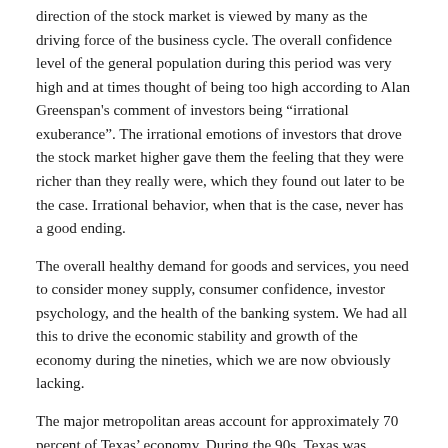direction of the stock market is viewed by many as the driving force of the business cycle. The overall confidence level of the general population during this period was very high and at times thought of being too high according to Alan Greenspan's comment of investors being "irrational exuberance". The irrational emotions of investors that drove the stock market higher gave them the feeling that they were richer than they really were, which they found out later to be the case. Irrational behavior, when that is the case, never has a good ending.
The overall healthy demand for goods and services, you need to consider money supply, consumer confidence, investor psychology, and the health of the banking system. We had all this to drive the economic stability and growth of the economy during the nineties, which we are now obviously lacking.
The major metropolitan areas account for approximately 70 percent of Texas' economy. During the 90s, Texas was growing faster than any other state in the nation. The industries that were growing were major players in the Texas economy. Dallas/Ft. Worth served as a trade center and distribution hub because of its central location to the state. It also had past ties to oil, defense electronics, and was the states telecommunications center. Austin's higher education and high tech sector helped contribute to its dominant role in the state's economy.